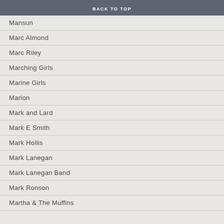BACK TO TOP
Mansun
Marc Almond
Marc Riley
Marching Girls
Marine Girls
Marion
Mark and Lard
Mark E Smith
Mark Hollis
Mark Lanegan
Mark Lanegan Band
Mark Ronson
Martha & The Muffins